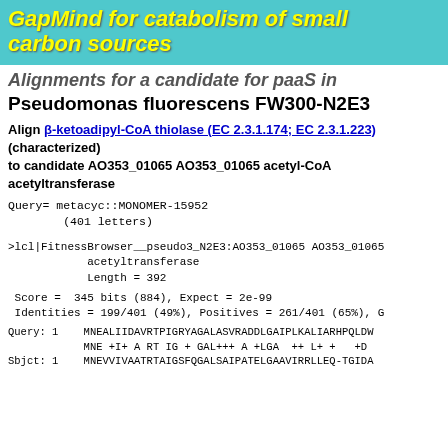GapMind for catabolism of small carbon sources
Alignments for a candidate for paaS in Pseudomonas fluorescens FW300-N2E3
Align β-ketoadipyl-CoA thiolase (EC 2.3.1.174; EC 2.3.1.223) (characterized) to candidate AO353_01065 AO353_01065 acetyl-CoA acetyltransferase
Query= metacyc::MONOMER-15952
        (401 letters)
>lcl|FitnessBrowser__pseudo3_N2E3:AO353_01065 AO353_01065
            acetyltransferase
            Length = 392
Score =  345 bits (884), Expect = 2e-99
Identities = 199/401 (49%), Positives = 261/401 (65%), G
Query: 1    MNEALIIDAVRTPIGRYAGALASVRADDLGAIPLKALIARHPQLDW
            MNE +I+ A RT IG + GAL+++ A +LGA  ++ L+ +   +D
Sbjct: 1    MNEVVIVAATRTAIGSFQGALSAIPATELGAAVIRRLLEQ-TGIDA